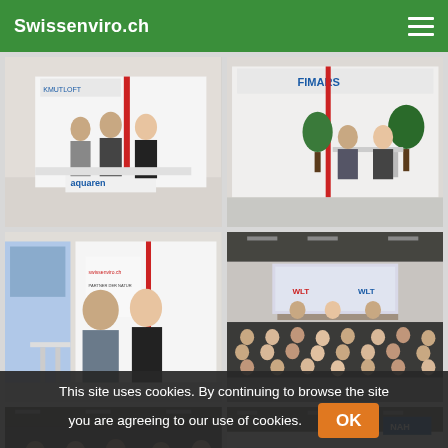Swissenviro.ch
[Figure (photo): Trade show booth with three people standing at a white exhibition stand with 'aquaren' and 'KMUTLOFT' branding]
[Figure (photo): Trade show booth with 'FIMARS' branding, two people seated at a table]
[Figure (photo): Two people (man and woman) posing in front of a white exhibition stand]
[Figure (photo): Conference room with audience seated watching a panel presentation on stage with projection screen]
[Figure (photo): Partially visible conference room scene]
[Figure (photo): Partially visible trade show area with 'NAH' signage]
This site uses cookies. By continuing to browse the site you are agreeing to our use of cookies. OK